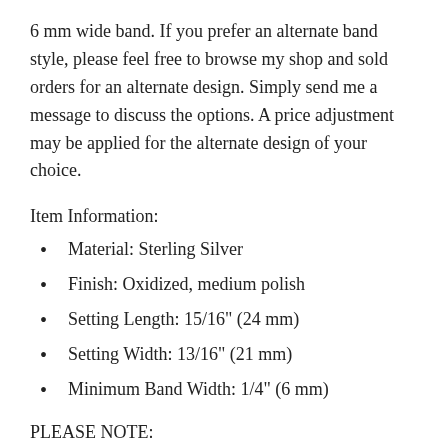6 mm wide band. If you prefer an alternate band style, please feel free to browse my shop and sold orders for an alternate design. Simply send me a message to discuss the options. A price adjustment may be applied for the alternate design of your choice.
Item Information:
Material: Sterling Silver
Finish: Oxidized, medium polish
Setting Length: 15/16" (24 mm)
Setting Width: 13/16" (21 mm)
Minimum Band Width: 1/4" (6 mm)
PLEASE NOTE:
Made-to-order rings are crafted in the size you specify and are therefore NOT returnable.
This is a made to order item. You will receive the